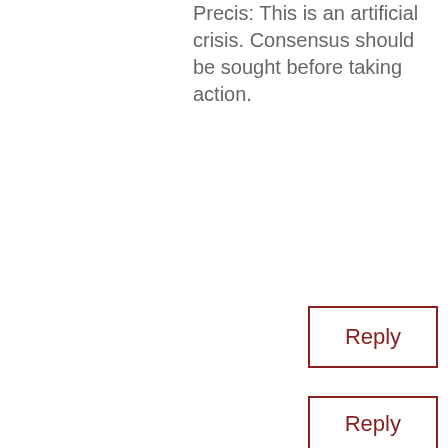Precis: This is an artificial crisis. Consensus should be sought before taking action.
Reply
Ian Czekala on August 1, 2011 at 6:09 pm
[Figure (photo): Headshot of Ian Czekala, a young man with brown hair, smiling, wearing a dark shirt]
Steve, Alyssa, and Rob, thank you all for your comments and correction. We greatly appreciate your feedback!
Reply